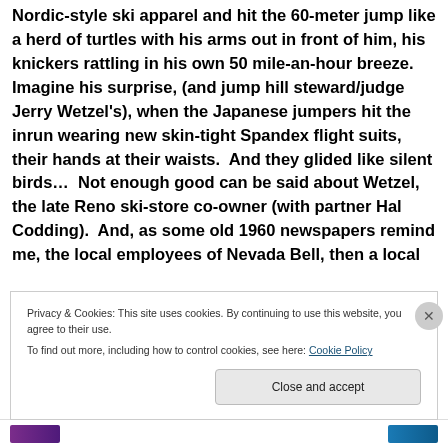Nordic-style ski apparel and hit the 60-meter jump like a herd of turtles with his arms out in front of him, his knickers rattling in his own 50 mile-an-hour breeze. Imagine his surprise, (and jump hill steward/judge Jerry Wetzel's), when the Japanese jumpers hit the inrun wearing new skin-tight Spandex flight suits, their hands at their waists. And they glided like silent birds... Not enough good can be said about Wetzel, the late Reno ski-store co-owner (with partner Hal Codding). And, as some old 1960 newspapers remind me, the local employees of Nevada Bell, then a local
Privacy & Cookies: This site uses cookies. By continuing to use this website, you agree to their use.
To find out more, including how to control cookies, see here: Cookie Policy